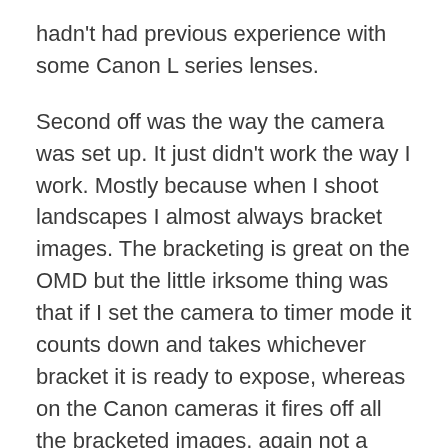hadn't had previous experience with some Canon L series lenses.
Second off was the way the camera was set up. It just didn't work the way I work. Mostly because when I shoot landscapes I almost always bracket images. The bracketing is great on the OMD but the little irksome thing was that if I set the camera to timer mode it counts down and takes whichever bracket it is ready to expose, whereas on the Canon cameras it fires off all the bracketed images, again not a deal breaker, just a little irritating thing that wouldn't bother most other folks.
Third off it just didn't feel right. I know it's a matter of my personal emotional feelings